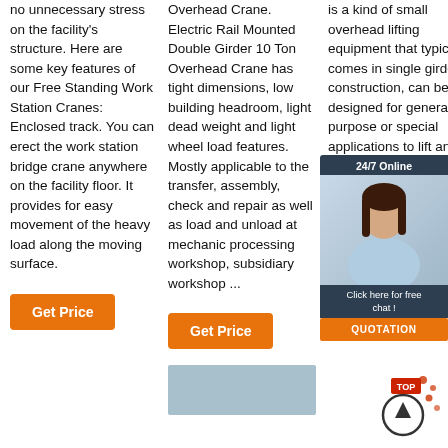no unnecessary stress on the facility's structure. Here are some key features of our Free Standing Work Station Cranes: Enclosed track. You can erect the work station bridge crane anywhere on the facility floor. It provides for easy movement of the heavy load along the moving surface.
Get Price
Overhead Crane. Electric Rail Mounted Double Girder 10 Ton Overhead Crane has tight dimensions, low building headroom, light dead weight and light wheel load features. Mostly applicable to the transfer, assembly, check and repair as well as load and unload at mechanic processing workshop, subsidiary workshop ...
Get Price
is a kind of small overhead lifting equipment that typically comes in single girder construction, can be designed for general purpose or special applications to lift and move heavy loads in workshops, warehouses, workstations, steel mills and chemical plants.
Get Price
[Figure (photo): Photo of a crane or industrial equipment at the bottom center]
[Figure (illustration): 24/7 Online chat overlay with person image and Quotation button on the right side]